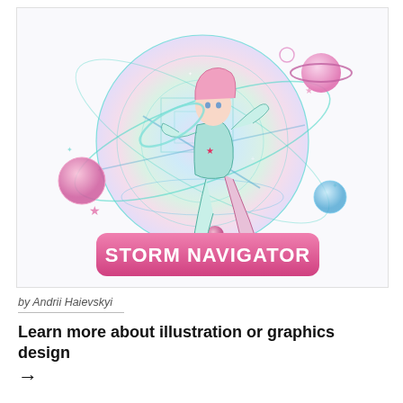[Figure (illustration): Colorful anime-style illustration of a female character in a futuristic space suit posing dynamically against a holographic circular background with planets, orbits, stars, and floating spheres. A pink banner at the bottom reads 'STORM NAVIGATOR' in bold white text.]
by Andrii Haievskyi
Learn more about illustration or graphics design →